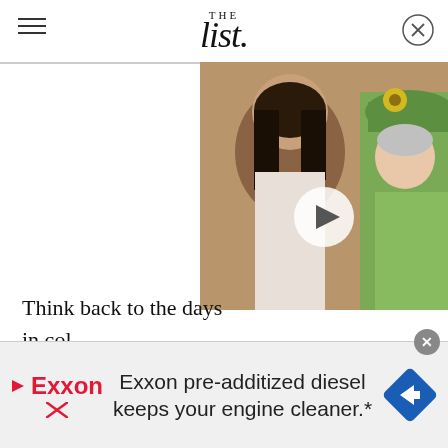THE list
[Figure (photo): Video thumbnail showing two women — one younger with dark hair, one older wearing a green hat — with a play button overlay]
Think back to the days in col... an intern — you were the person who fetched the coffee and put paper in the copier. Well, what if we told you that Melinda Gates, one of the most influential people in the world, also worked as an intern? Yes, it's true, she did, and now it's given us hope for everyone else who started at the bottom of
[Figure (screenshot): Exxon advertisement banner: Exxon pre-additized diesel keeps your engine cleaner.*]